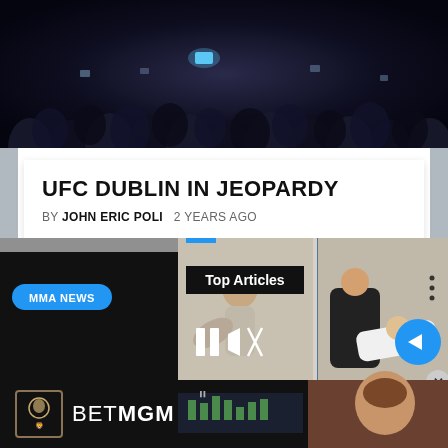[Figure (photo): Dark crowd photo at UFC event with phones raised, one bright phone screen glowing blue in center]
UFC DUBLIN IN JEOPARDY
BY JOHN ERIC POLI   2 YEARS AGO
UFC Dublin could be in trouble The UFC's return to Dublin may have to wait
[Figure (screenshot): Bottom composite: MMA fighter card with MMA NEWS tag, Top Articles overlay panel with wrestling image, Facebook founder Mark text, BetMGM advertisement bar, person photo bottom right, pause/mute/arrow controls]
Facebook founder Mark